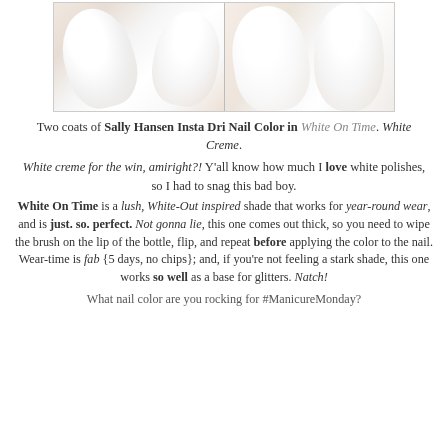[Figure (photo): Two side-by-side close-up photos of white nail polish on fingernails. Left photo shows angled nails with white polish, right photo shows square nails with white polish and a faint product label visible.]
Two coats of Sally Hansen Insta Dri Nail Color in White On Time. White Creme.
White creme for the win, amiright?! Y'all know how much I love white polishes, so I had to snag this bad boy.
White On Time is a lush, White-Out inspired shade that works for year-round wear, and is just. so. perfect. Not gonna lie, this one comes out thick, so you need to wipe the brush on the lip of the bottle, flip, and repeat before applying the color to the nail. Wear-time is fab {5 days, no chips}; and, if you're not feeling a stark shade, this one works so well as a base for glitters. Natch!
What nail color are you rocking for #ManicureMonday?